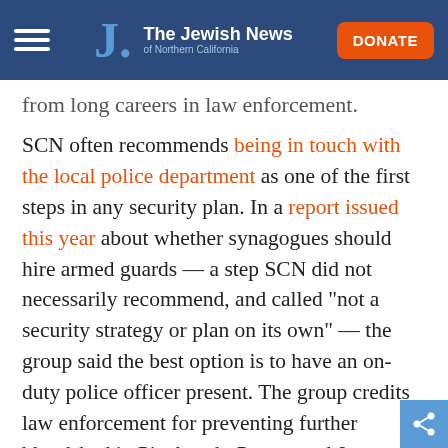The Jewish News of Northern California
from long careers in law enforcement.
SCN often recommends being in touch with the local police department as one of the first steps in any security plan. In a report issued this year about whether synagogues should hire armed guards — a step SCN did not necessarily recommend, and called “not a security strategy or plan on its own” — the group said the best option is to have an on-duty police officer present. The group credits law enforcement for preventing further bloodshed in Pittsburgh, Poway and Jersey City.
Its CEO, Michael Masters, is a former Department